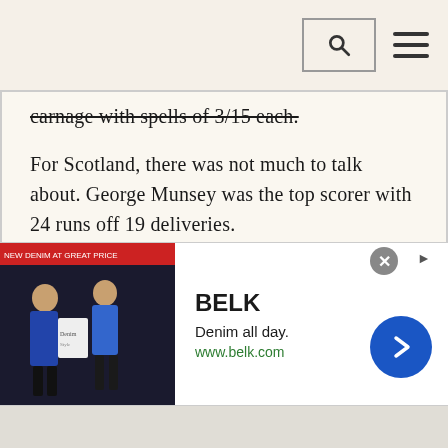[search icon] [menu icon]
carnage with spells of 3/15 each.
For Scotland, there was not much to talk about. George Munsey was the top scorer with 24 runs off 19 deliveries.
Ravindra Jadeja claimed the Player of the Match award for his amazing spin bowling display.
tanvir2575@gmail.com
[Figure (screenshot): Advertisement banner for BELK showing denim clothing. Text: BELK, Denim all day., www.belk.com]